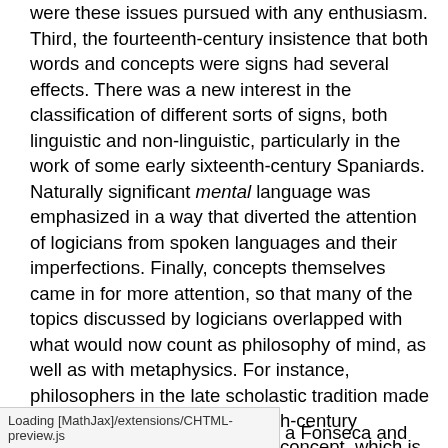were these issues pursued with any enthusiasm. Third, the fourteenth-century insistence that both words and concepts were signs had several effects. There was a new interest in the classification of different sorts of signs, both linguistic and non-linguistic, particularly in the work of some early sixteenth-century Spaniards. Naturally significant mental language was emphasized in a way that diverted the attention of logicians from spoken languages and their imperfections. Finally, concepts themselves came in for more attention, so that many of the topics discussed by logicians overlapped with what would now count as philosophy of mind, as well as with metaphysics. For instance, philosophers in the late scholastic tradition made much use of an early fourteenth-century distinction between the formal concept, which is a representative act of mind, and the so-called objective concept, which is whatever it is that is represented by a formal concept. The discussion of
Loading [MathJax]/extensions/CHTML-preview.js
a Fonseca and